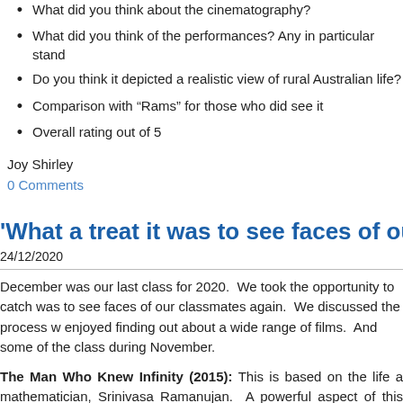What did you think about the cinematography?
What did you think of the performances?  Any in particular stand
Do you think it depicted a realistic view of rural Australian life?
Comparison with “Rams” for those who did see it
Overall rating out of 5
Joy Shirley
0 Comments
'What a treat it was to see faces of our c
24/12/2020
December was our last class for 2020.  We took the opportunity to catch was to see faces of our classmates again.  We discussed the process w enjoyed finding out about a wide range of films.  And some of the class during November.
The Man Who Knew Infinity (2015): This is based on the life a mathematician, Srinivasa Ramanujan.  A powerful aspect of this movie being proven a century after they were first foretold.  An